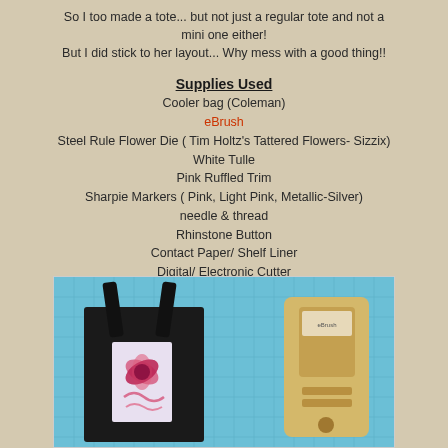So I too made a tote... but not just a regular tote and not a mini one either!
But I did stick to her layout... Why mess with a good thing!!
Supplies Used
Cooler bag (Coleman)
eBrush
Steel Rule Flower Die ( Tim Holtz's Tattered Flowers- Sizzix)
White Tulle
Pink Ruffled Trim
Sharpie Markers ( Pink, Light Pink, Metallic-Silver)
needle & thread
Rhinstone Button
Contact Paper/ Shelf Liner
Digital/ Electronic Cutter
[Figure (photo): Photo of a black tote bag with a floral decorated card/tag leaning against it, and a yellow crafting tool (electronic cutter device) on a blue cutting mat background]